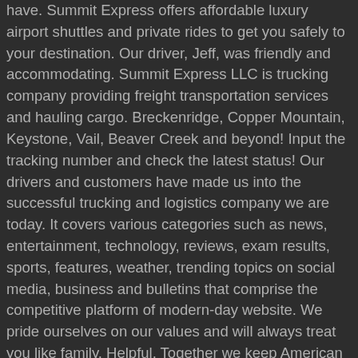have. Summit Express offers affordable luxury airport shuttles and private rides to get you safely to your destination. Our driver, Jeff, was friendly and accommodating. Summit Express LLC is trucking company providing freight transportation services and hauling cargo. Breckenridge, Copper Mountain, Keystone, Vail, Beaver Creek and beyond! Input the tracking number and check the latest status! Our drivers and customers have made us into the successful trucking and logistics company we are today. It covers various categories such as news, entertainment, technology, reviews, exam results, sports, features, weather, trending topics on social media, business and bulletins that comprise the competitive platform of modern-day website. We pride ourselves on our values and will always treat you like family. Helpful. Together we keep American commerce moving. We can provide you with Magic3, Lofric, CompactCath, Speedicath, Cure Ultra and many other catheter styles and brands. ), #JusticeForChristineDacera: Flight attendant killed in New Year’s party with friends, WATCH: Visionary Rudy Baldwin reveals 6 predictions for 2021, MMFF 2020 top grossers, box-office earnings – unofficial report, Feng Shui master reveals horoscope, predictions for 2021 Year of Metal Ox, How to